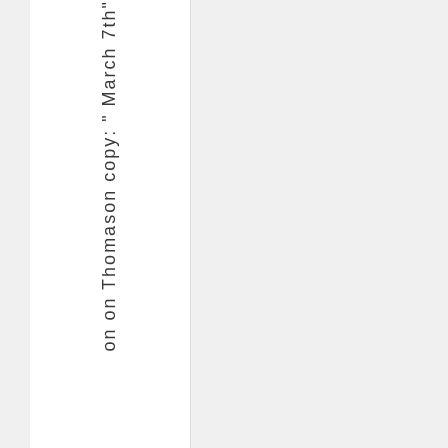on on Thomason copy: " March 7th"